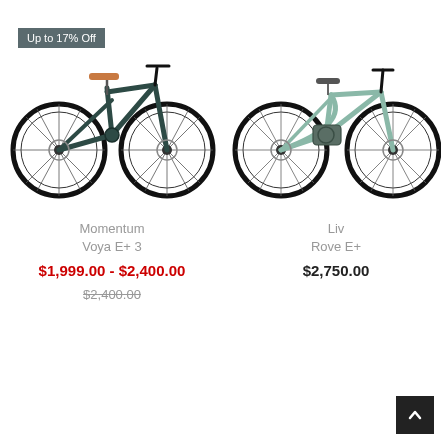Up to 17% Off
[Figure (illustration): Dark teal Momentum Voya E+ 3 electric hybrid bicycle with brown leather saddle, black wheels, disc brakes]
Momentum
Voya E+ 3
$1,999.00 - $2,400.00
$2,400.00
[Figure (illustration): Light mint/sage green Liv Rove E+ step-through electric bicycle with mid-drive motor, disc brakes]
Liv
Rove E+
$2,750.00